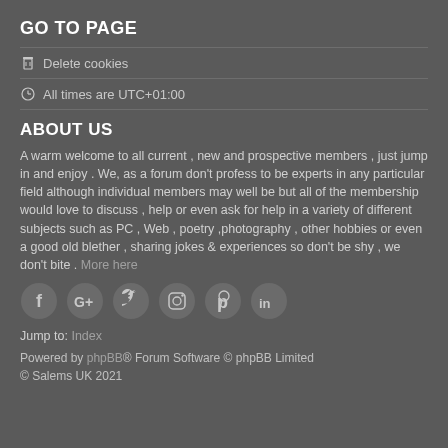GO TO PAGE
Delete cookies
All times are UTC+01:00
ABOUT US
A warm welcome to all current , new and prospective members , just jump in and enjoy . We, as a forum don't profess to be experts in any particular field although individual members may well be but all of the membership would love to discuss , help or even ask for help in a variety of different subjects such as PC , Web , poetry ,photography , other hobbies or even a good old blether , sharing jokes & experiences so don't be shy , we don't bite . More here
[Figure (illustration): Social media icons: Facebook, Google+, Twitter, Instagram, Pinterest, LinkedIn]
Jump to: Index
Powered by phpBB® Forum Software © phpBB Limited © Salems UK 2021